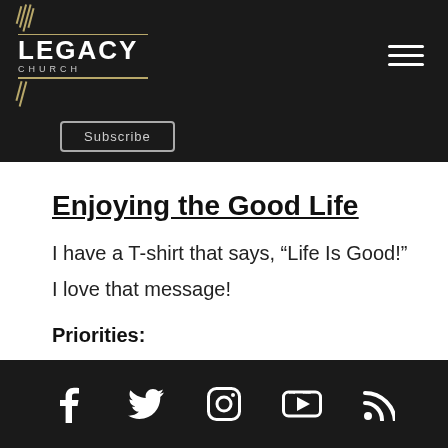LEGACY CHURCH
Subscribe
Enjoying the Good Life
I have a T-shirt that says, “Life Is Good!”
I love that message!
Priorities:
Social media icons: Facebook, Twitter, Instagram, YouTube, RSS